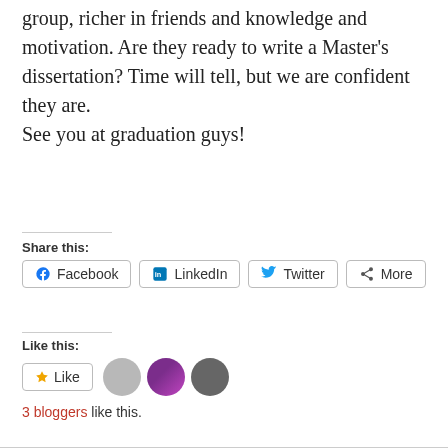individuals, and they are richer for it as a group, richer in friends and knowledge and motivation. Are they ready to write a Master’s dissertation? Time will tell, but we are confident they are.
See you at graduation guys!
Share this:
Facebook  LinkedIn  Twitter  More
Like this:
Like
3 bloggers like this.